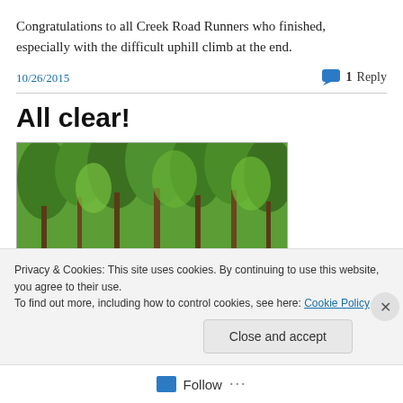Congratulations to all Creek Road Runners who finished, especially with the difficult uphill climb at the end.
10/26/2015
1 Reply
All clear!
[Figure (photo): Outdoor photo showing a wooden bridge or walkway surrounded by dense green trees and forest foliage.]
Privacy & Cookies: This site uses cookies. By continuing to use this website, you agree to their use.
To find out more, including how to control cookies, see here: Cookie Policy
Close and accept
Follow